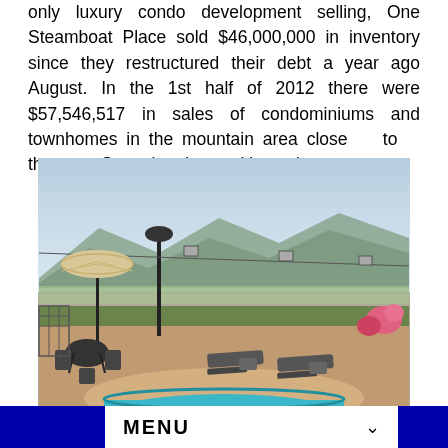only luxury condo development selling, One Steamboat Place sold $46,000,000 in inventory since they restructured their debt a year ago August. In the 1st half of 2012 there were $57,546,517 in sales of condominiums and townhomes in the mountain area close to the Steamboat's ski slopes.
[Figure (photo): Outdoor pool/hot tub area of a luxury condo development with patio furniture, umbrella, lamp post, lounge chairs, mountain views, and cable cars visible in the background. Blue sky with mountains and valley in distance.]
MENU